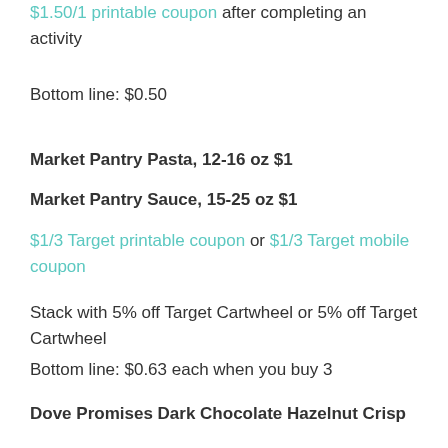$1.50/1 printable coupon after completing an activity
Bottom line: $0.50
Market Pantry Pasta, 12-16 oz $1
Market Pantry Sauce, 15-25 oz $1
$1/3 Target printable coupon or $1/3 Target mobile coupon
Stack with 5% off Target Cartwheel or 5% off Target Cartwheel
Bottom line: $0.63 each when you buy 3
Dove Promises Dark Chocolate Hazelnut Crisp $3.50
50% off Target Cartwheel
Stack with $1/1 coupon from 5/3 Red Pl...